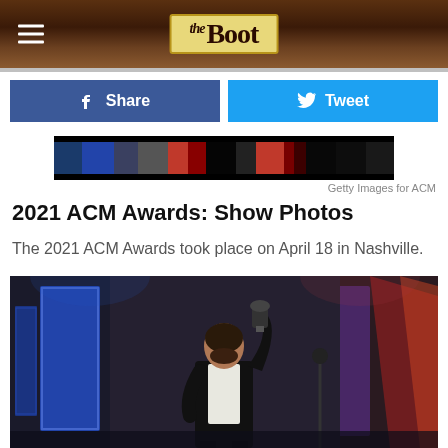the Boot
[Figure (screenshot): Social share buttons: blue Facebook Share button and cyan Twitter Tweet button]
[Figure (photo): Filmstrip preview thumbnail of ACM Awards show photos]
Getty Images for ACM
2021 ACM Awards: Show Photos
The 2021 ACM Awards took place on April 18 in Nashville.
[Figure (photo): Man in dark suit holding award trophy above his head on stage at the 2021 ACM Awards, with blue and pink lit panels in background]